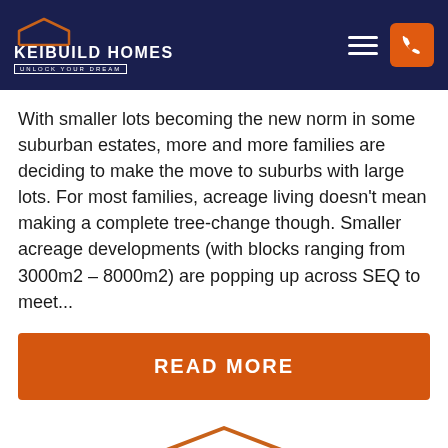KEIBUILD HOMES — UNLOCK YOUR DREAM
With smaller lots becoming the new norm in some suburban estates, more and more families are deciding to make the move to suburbs with large lots. For most families, acreage living doesn't mean making a complete tree-change though. Smaller acreage developments (with blocks ranging from 3000m2 – 8000m2) are popping up across SEQ to meet...
READ MORE